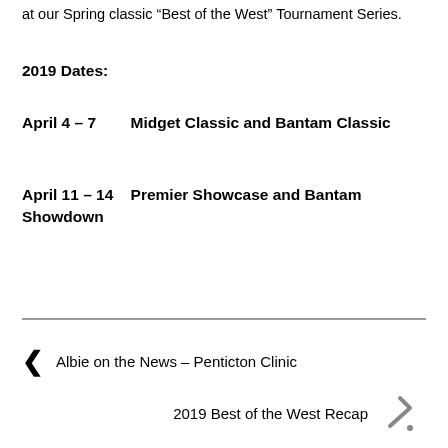at our Spring classic “Best of the West” Tournament Series.
2019 Dates:
April 4 – 7    Midget Classic and Bantam Classic
April 11 – 14    Premier Showcase and Bantam Showdown
‹ Albie on the News – Penticton Clinic
2019 Best of the West Recap ›